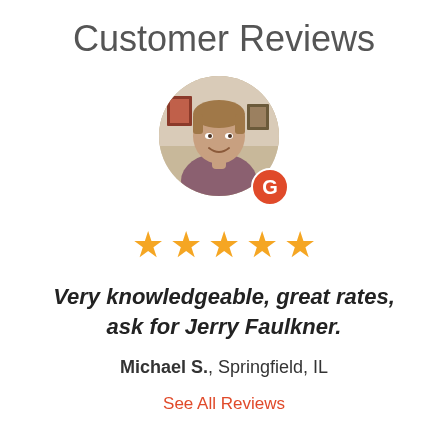Customer Reviews
[Figure (photo): Circular profile photo of a man with a Google badge overlay in the bottom right]
[Figure (other): Five gold stars rating]
Very knowledgeable, great rates, ask for Jerry Faulkner.
Michael S., Springfield, IL
See All Reviews